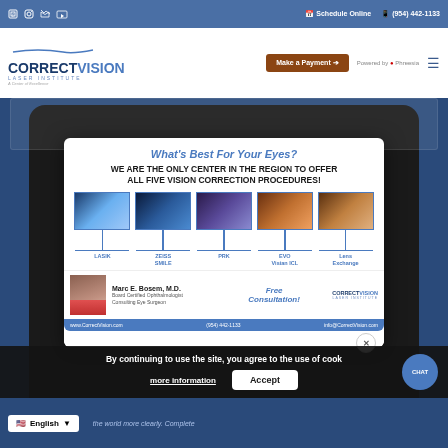Schedule Online  (954) 442-1133
[Figure (screenshot): CorrectVision Laser Institute website header with logo, Make a Payment button powered by Phreesia, and hamburger menu]
[Figure (infographic): Modal popup: What's Best For Your Eyes? We are the only center in the region to offer all five vision correction procedures! Shows LASIK, ZEISS SMILE, PRK, EVO Visian ICL, Lens Exchange. Dr. Marc E. Bosem M.D. Board Certified Ophthalmologist. Free Consultation! CorrectVision Laser Institute. www.CorrectVision.com (954) 442-1133 info@CorrectVision.com]
By continuing to use the site, you agree to the use of cook
more information
Accept
CHAT
English